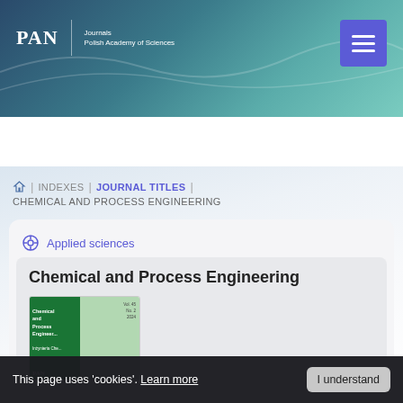[Figure (screenshot): PAN Journals Polish Academy of Sciences website header with blue-teal gradient background, PAN logo on left, hamburger menu button (blue/purple) on right]
[Figure (screenshot): Search bar with + icon and magnifying glass on dark teal background, placeholder text: Search name of the author, publishing year...]
🏠 | INDEXES | JOURNAL TITLES | CHEMICAL AND PROCESS ENGINEERING
Applied sciences
Chemical and Process Engineering
[Figure (photo): Cover of Chemical and Process Engineering journal - green cover with PAN logo]
This page uses 'cookies'. Learn more
I understand